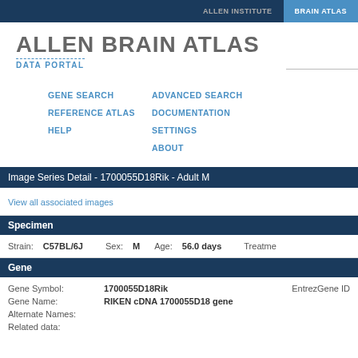ALLEN INSTITUTE   BRAIN ATLAS
ALLEN BRAIN ATLAS
DATA PORTAL
GENE SEARCH   ADVANCED SEARCH   REFERENCE ATLAS   DOCUMENTATION   HELP   SETTINGS   ABOUT
Image Series Detail - 1700055D18Rik - Adult M
View all associated images
Specimen
Strain: C57BL/6J   Sex: M   Age: 56.0 days   Treatment
Gene
Gene Symbol: 1700055D18Rik   EntrezGene ID
Gene Name: RIKEN cDNA 1700055D18 gene
Alternate Names:
Related data: